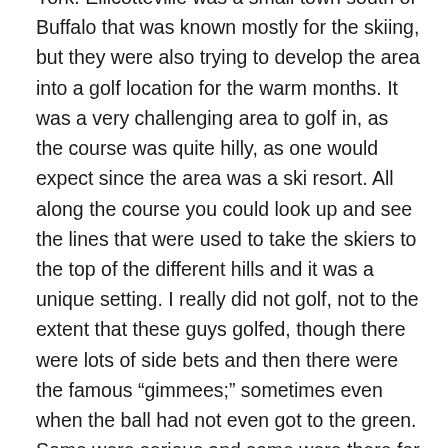York. Ellicotteville was a small town south of Buffalo that was known mostly for the skiing, but they were also trying to develop the area into a golf location for the warm months. It was a very challenging area to golf in, as the course was quite hilly, as one would expect since the area was a ski resort. All along the course you could look up and see the lines that were used to take the skiers to the top of the different hills and it was a unique setting. I really did not golf, not to the extent that these guys golfed, though there were lots of side bets and then there were the famous “gimmees;” sometimes even when the ball had not even got to the green. Some were serious and some were there for the good times. Since I did not golf, I was part of the entertainment committee. I drove a jerry rigged golf cart that held an enormous cooler filled with beer and ice, and a shelf that had plastic glasses and a small bar of